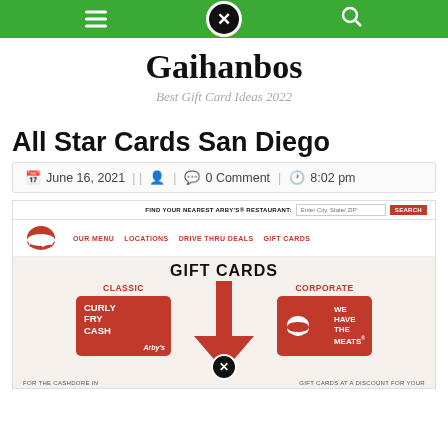Navigation bar with hamburger menu, close icon, search icon on green background
Gaihanbos
Best Gift Card Ideas 2022
All Star Cards San Diego
June 16, 2021 | | 0 Comment | 8:02 pm
[Figure (screenshot): Screenshot of Arby's website Gift Cards page showing GIFT CARDS heading, CLASSIC section with Curly Fry Cash card, CORPORATE section with We Have The Meats card, with a large red down arrow overlay and close button]